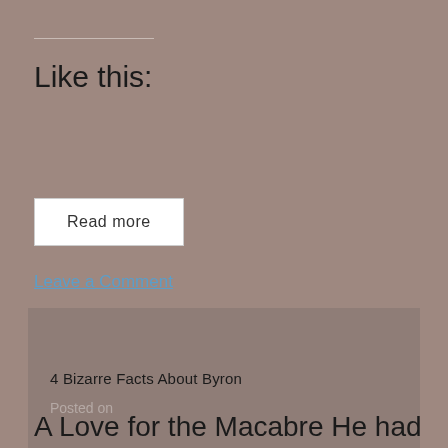Like this:
Read more
Leave a Comment
4 Bizarre Facts About Byron
Posted on
A Love for the Macabre He had a love for the